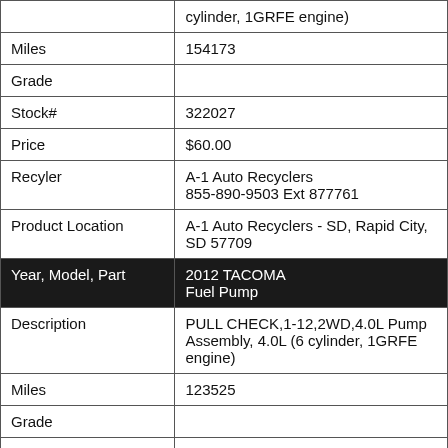|  | cylinder, 1GRFE engine) |
| Miles | 154173 |
| Grade |  |
| Stock# | 322027 |
| Price | $60.00 |
| Recyler | A-1 Auto Recyclers
855-890-9503 Ext 877761 |
| Product Location | A-1 Auto Recyclers - SD, Rapid City, SD 57709 |
| Year, Model, Part | 2012 TACOMA
Fuel Pump |
| Description | PULL CHECK,1-12,2WD,4.0L Pump Assembly, 4.0L (6 cylinder, 1GRFE engine) |
| Miles | 123525 |
| Grade |  |
| Stock# | 6833 |